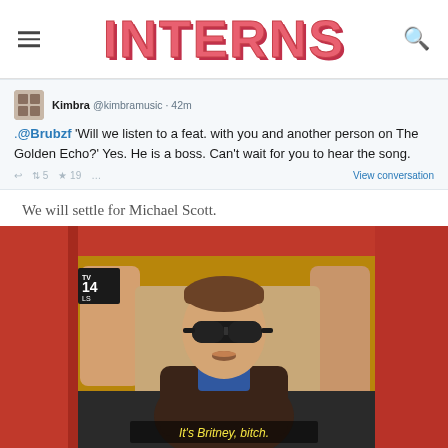INTERNS
[Figure (screenshot): Tweet from Kimbra (@kimbramusic) 42m ago: '.@Brubzf Will we listen to a feat. with you and another person on The Golden Echo?' Yes. He is a boss. Can't wait for you to hear the song. — retweets: 5, favorites: 19, View conversation]
We will settle for Michael Scott.
[Figure (screenshot): Screenshot from The Office TV show: Michael Scott sitting in a red convertible car wearing sunglasses, with subtitle text 'It's Britney, bitch.' TV-14 LS rating shown in top left corner.]